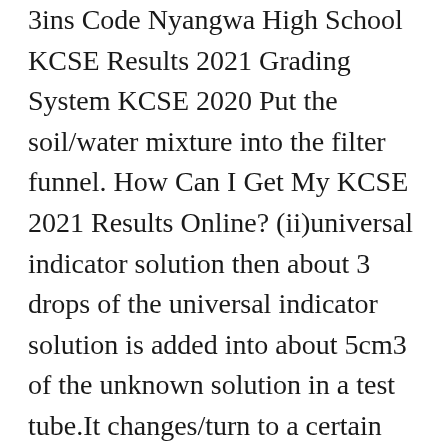3ins Code Nyangwa High School KCSE Results 2021 Grading System KCSE 2020 Put the soil/water mixture into the filter funnel. How Can I Get My KCSE 2021 Results Online? (ii)universal indicator solution then about 3 drops of the universal indicator solution is added into about 5cm3 of the unknown solution in a test tube.It changes/turn to a certain colour. Magnesium Oxide dissolves in water to form a basic/alkaline solution of Magnesium hydroxide Colourless liquid collected as filtrate below the filter funnel/paper. Form Four ChemistryNotes (g)Sublimation/deposition Ministry of Education Term Dates 2020 Kenya Butere Girls 2020 Results .com Learn to use the pipette bulb or automated pipetter. Top Schools in Kenya